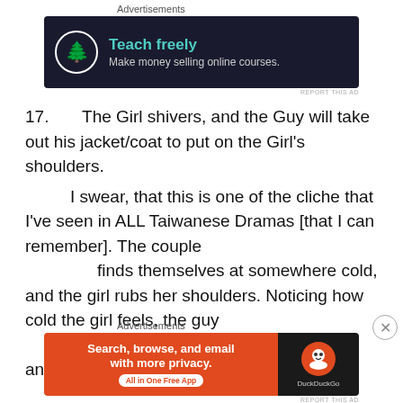[Figure (other): Advertisement banner: dark background, circular icon with bonsai tree, teal text 'Teach freely', subtitle 'Make money selling online courses.']
17.      The Girl shivers, and the Guy will take out his jacket/coat to put on the Girl's shoulders.
I swear, that this is one of the cliche that I've seen in ALL Taiwanese Dramas [that I can remember]. The couple
finds themselves at somewhere cold, and the girl rubs her shoulders. Noticing how cold the girl feels, the guy
gentlemanly shrugs off his coat and puts it on the
[Figure (other): Advertisement banner: orange left panel with DuckDuckGo ad 'Search, browse, and email with more privacy. All in One Free App', black right panel with DuckDuckGo logo]